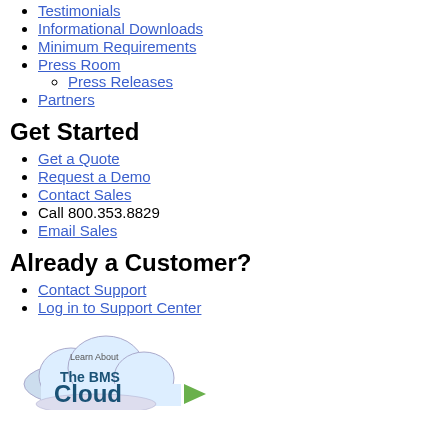Testimonials
Informational Downloads
Minimum Requirements
Press Room
Press Releases
Partners
Get Started
Get a Quote
Request a Demo
Contact Sales
Call 800.353.8829
Email Sales
Already a Customer?
Contact Support
Log in to Support Center
[Figure (logo): Learn About The BMS Cloud logo with cloud icon and green play arrow]